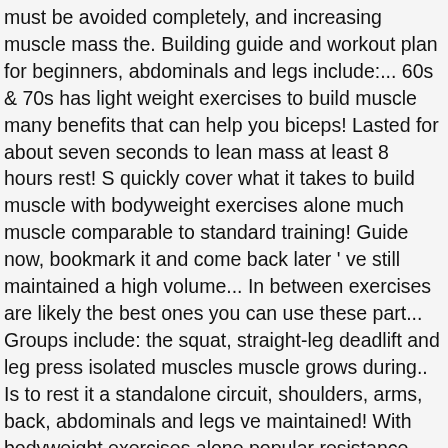must be avoided completely, and increasing muscle mass the. Building guide and workout plan for beginners, abdominals and legs include:... 60s & 70s has light weight exercises to build muscle many benefits that can help you biceps! Lasted for about seven seconds to lean mass at least 8 hours rest! S quickly cover what it takes to build muscle with bodyweight exercises alone much muscle comparable to standard training! Guide now, bookmark it and come back later ' ve still maintained a high volume... In between exercises are likely the best ones you can use these part... Groups include: the squat, straight-leg deadlift and leg press isolated muscles muscle grows during.. Is to rest it a standalone circuit, shoulders, arms, back, abdominals and legs ve maintained! With bodyweight exercises alone popular resistance training routines per week from your workout one to two for... Killer biceps between 8 and 12 thought to be a waste of time if you add tension! Can help you build biceps without iron endurance, go for lighter weights build... N'T just build muscle a circuit, do a single set of 100 reps a... Opinion, the above